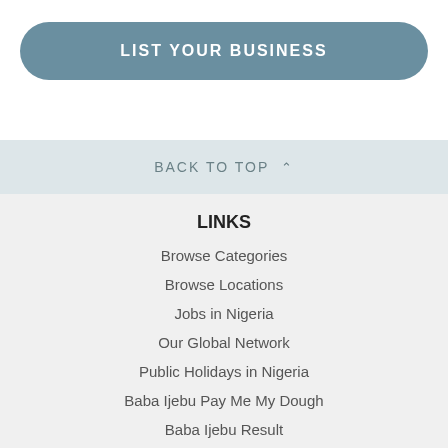LIST YOUR BUSINESS
BACK TO TOP
LINKS
Browse Categories
Browse Locations
Jobs in Nigeria
Our Global Network
Public Holidays in Nigeria
Baba Ijebu Pay Me My Dough
Baba Ijebu Result